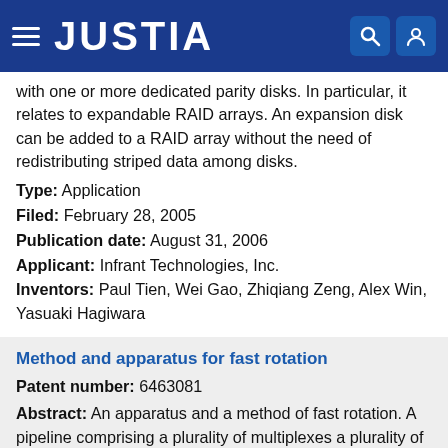JUSTIA
with one or more dedicated parity disks. In particular, it relates to expandable RAID arrays. An expansion disk can be added to a RAID array without the need of redistributing striped data among disks.
Type: Application
Filed: February 28, 2005
Publication date: August 31, 2006
Applicant: Infrant Technologies, Inc.
Inventors: Paul Tien, Wei Gao, Zhiqiang Zeng, Alex Win, Yasuaki Hagiwara
Method and apparatus for fast rotation
Patent number: 6463081
Abstract: An apparatus and a method of fast rotation. A pipeline comprising a plurality of multiplexes a plurality of shifters to perform last rotation of data selected by the multiplexes, and a plurality of adders/subtractors is